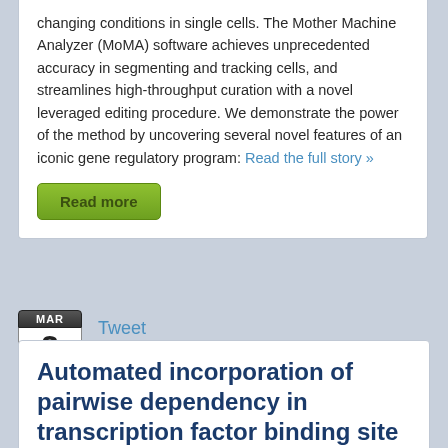changing conditions in single cells. The Mother Machine Analyzer (MoMA) software achieves unprecedented accuracy in segmenting and tracking cells, and streamlines high-throughput curation with a novel leveraged editing procedure. We demonstrate the power of the method by uncovering several novel features of an iconic gene regulatory program: Read the full story »
Read more
Tweet
MAR 2 2018
Automated incorporation of pairwise dependency in transcription factor binding site prediction using